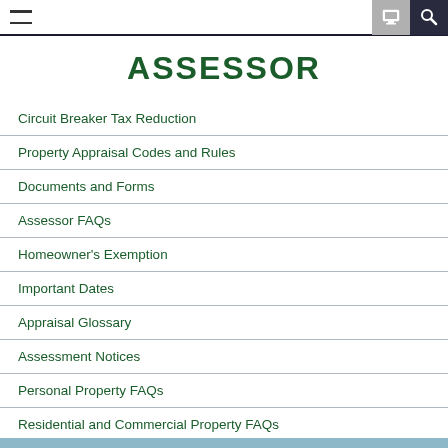Assessor - navigation header
Assessor
Circuit Breaker Tax Reduction
Property Appraisal Codes and Rules
Documents and Forms
Assessor FAQs
Homeowner's Exemption
Important Dates
Appraisal Glossary
Assessment Notices
Personal Property FAQs
Residential and Commercial Property FAQs
Helpful Hints for Filing an Appeal